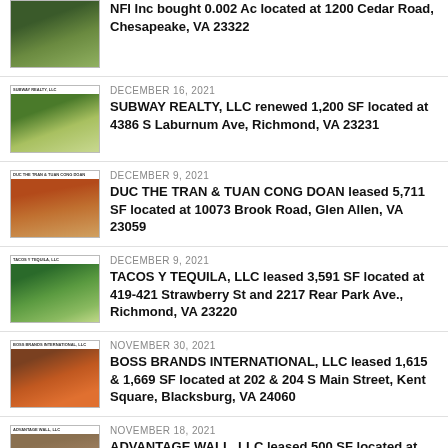NFI Inc bought 0.002 Ac located at 1200 Cedar Road, Chesapeake, VA 23322
DECEMBER 16, 2021 — SUBWAY REALTY, LLC renewed 1,200 SF located at 4386 S Laburnum Ave, Richmond, VA 23231
DECEMBER 9, 2021 — DUC THE TRAN & TUAN CONG DOAN leased 5,711 SF located at 10073 Brook Road, Glen Allen, VA 23059
DECEMBER 9, 2021 — TACOS Y TEQUILA, LLC leased 3,591 SF located at 419-421 Strawberry St and 2217 Rear Park Ave., Richmond, VA 23220
NOVEMBER 30, 2021 — BOSS BRANDS INTERNATIONAL, LLC leased 1,615 & 1,669 SF located at 202 & 204 S Main Street, Kent Square, Blacksburg, VA 24060
NOVEMBER 18, 2021 — ADVANTAGE WALL, LLC leased 500 SF located at...